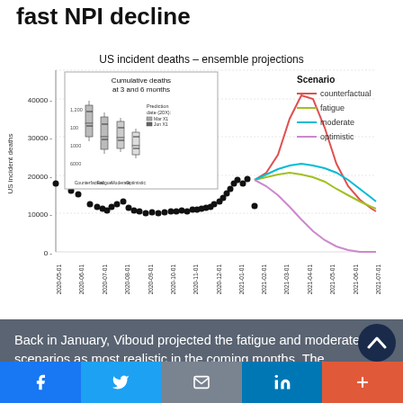fast NPI decline
[Figure (line-chart): Line chart showing US incident deaths ensemble projections from 2020-05 to 2021-07. Four scenario lines: counterfactual (red, peaks ~39000 in Apr 2021), fatigue (yellow-green), moderate (cyan), optimistic (purple, lowest). Black dots show historical data. Inset box plot shows cumulative deaths at 3 and 6 months for four scenarios.]
Back in January, Viboud projected the fatigue and moderate scenarios as most realistic in the coming months. The accelerated pace of vaccinations has shifted projections toward optimistic.